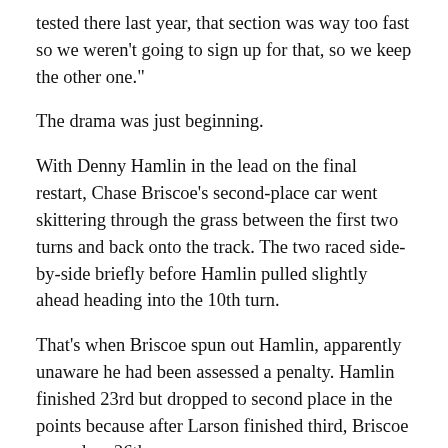tested there last year, that section was way too fast so we weren’t going to sign up for that, so we keep the other one.”
The drama was just beginning.
With Denny Hamlin in the lead on the final restart, Chase Briscoe’s second-place car went skittering through the grass between the first two turns and back onto the track. The two raced side-by-side briefly before Hamlin pulled slightly ahead heading into the 10th turn.
That’s when Briscoe spun out Hamlin, apparently unaware he had been assessed a penalty. Hamlin finished 23rd but dropped to second place in the points because after Larson finished third, Briscoe wound up 26th.
“Just a lack of awareness,” Hamlin said. “I don’t think he did it maliciously He’s not that kind of person. This